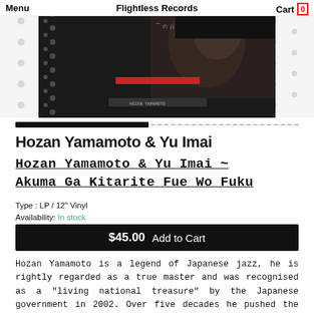Menu   Flightless Records   Cart 0
[Figure (photo): Album cover photo for Hozan Yamamoto & Yu Imai - Akuma Ga Kitarite Fue Wo Fuku, showing a person's face on a dark background with Japanese text, set against a white polka-dot patterned sleeve]
Hozan Yamamoto & Yu Imai
Hozan Yamamoto & Yu Imai ~ Akuma Ga Kitarite Fue Wo Fuku
Type : LP / 12" Vinyl
Availability: In stock
$45.00  Add to Cart
Hozan Yamamoto is a legend of Japanese jazz, he is rightly regarded as a true master and was recognised as a "living national treasure" by the Japanese government in 2002. Over five decades he pushed the genre into new directions, absorbing fusion, funk, spiritual jazz and many other sounds, resulting in a discography